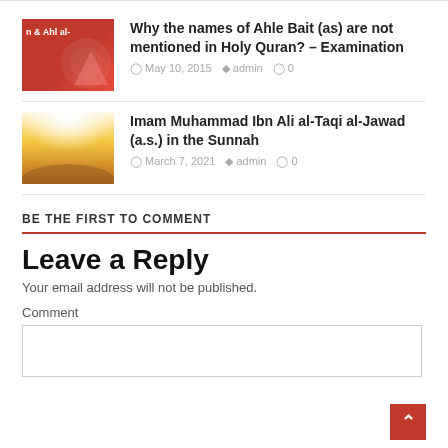[Figure (photo): Red background thumbnail with 'n & Ahl al-' text visible, decorative floral pattern]
Why the names of Ahle Bait (as) are not mentioned in Holy Quran? – Examination
May 10, 2015   admin   0
[Figure (photo): Light burst / sunlight rays over golden wheat field thumbnail]
Imam Muhammad Ibn Ali al-Taqi al-Jawad (a.s.) in the Sunnah
March 7, 2021   admin   0
BE THE FIRST TO COMMENT
Leave a Reply
Your email address will not be published.
Comment